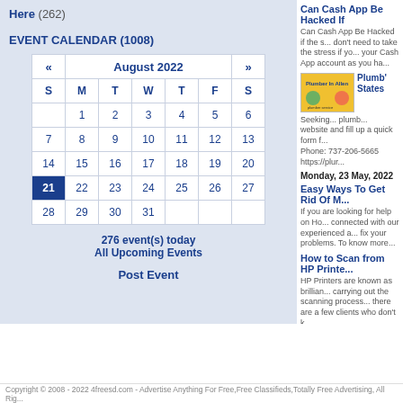Here (262)
EVENT CALENDAR (1008)
| S | M | T | W | T | F | S |
| --- | --- | --- | --- | --- | --- | --- |
|  | 1 | 2 | 3 | 4 | 5 | 6 |
| 7 | 8 | 9 | 10 | 11 | 12 | 13 |
| 14 | 15 | 16 | 17 | 18 | 19 | 20 |
| 21 | 22 | 23 | 24 | 25 | 26 | 27 |
| 28 | 29 | 30 | 31 |  |  |  |
276 event(s) today
All Upcoming Events
Post Event
Can Cash App Be Hacked If...
Can Cash App Be Hacked if the s... don't need to take the stress if yo... your Cash App account as you ha...
[Figure (illustration): Plumber in Allen advertisement with yellow background and plumber figures]
Plumb'... States...
Seeking... plumb... website and fill up a quick form f... Phone: 737-206-5665 https://plur...
Monday, 23 May, 2022
Easy Ways To Get Rid Of M...
If you are looking for help on Ho... connected with our experienced a... fix your problems. To know more...
How to Scan from HP Printe...
HP Printers are known as brillian... carrying out the scanning process... there are a few clients who don't k...
Page: First
Copyright © 2008 - 2022 4freesd.com - Advertise Anything For Free,Free Classifieds,Totally Free Advertising, All Rig...